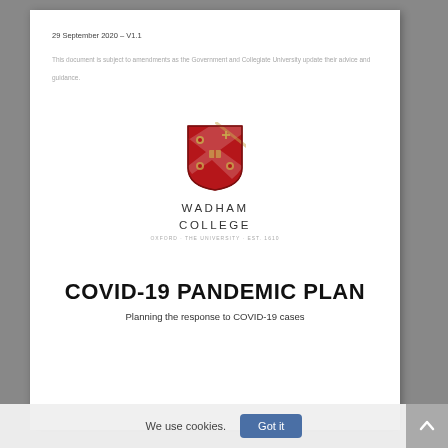29 September 2020 – V1.1
This document is subject to amendments as the Government and Collegiate University update their advice and guidance.
[Figure (logo): Wadham College Oxford shield/crest logo in red with gold details, above the text WADHAM COLLEGE and a Latin motto]
COVID-19 PANDEMIC PLAN
Planning the response to COVID-19 cases